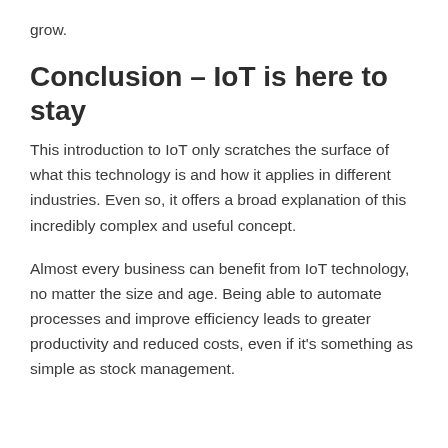grow.
Conclusion – IoT is here to stay
This introduction to IoT only scratches the surface of what this technology is and how it applies in different industries. Even so, it offers a broad explanation of this incredibly complex and useful concept.
Almost every business can benefit from IoT technology, no matter the size and age. Being able to automate processes and improve efficiency leads to greater productivity and reduced costs, even if it's something as simple as stock management.